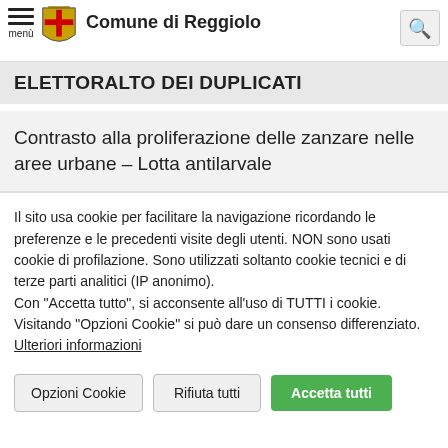menù | Comune di Reggiolo
ELETTORALTO DEI DUPLICATI
Contrasto alla proliferazione delle zanzare nelle aree urbane – Lotta antilarvale
Il sito usa cookie per facilitare la navigazione ricordando le preferenze e le precedenti visite degli utenti. NON sono usati cookie di profilazione. Sono utilizzati soltanto cookie tecnici e di terze parti analitici (IP anonimo).
Con "Accetta tutto", si acconsente all'uso di TUTTI i cookie. Visitando "Opzioni Cookie" si può dare un consenso differenziato.
Ulteriori informazioni
Opzioni Cookie | Rifiuta tutti | Accetta tutti